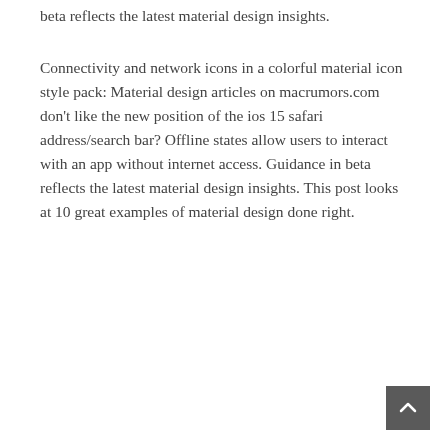beta reflects the latest material design insights.
Connectivity and network icons in a colorful material icon style pack: Material design articles on macrumors.com don't like the new position of the ios 15 safari address/search bar? Offline states allow users to interact with an app without internet access. Guidance in beta reflects the latest material design insights. This post looks at 10 great examples of material design done right.